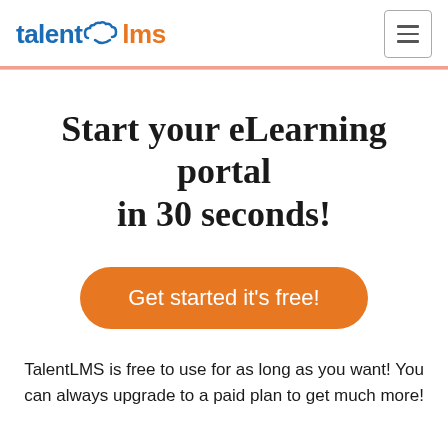talent lms
Start your eLearning portal in 30 seconds!
Get started it's free!
TalentLMS is free to use for as long as you want! You can always upgrade to a paid plan to get much more!